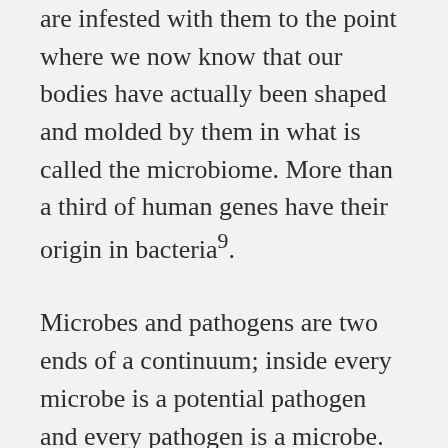are infested with them to the point where we now know that our bodies have actually been shaped and molded by them in what is called the microbiome. More than a third of human genes have their origin in bacteria⁹.
Microbes and pathogens are two ends of a continuum; inside every microbe is a potential pathogen and every pathogen is a microbe. Under certain circumstances, a commensal can turn pathogenic in its own host. A spillover event is however concerned with a microbe in one animal that crosses the